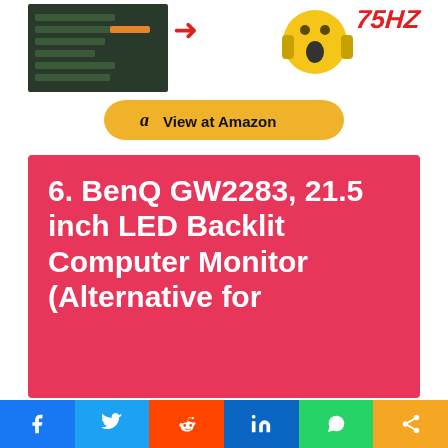[Figure (screenshot): Top portion showing a monitor settings screenshot with an orange bar and a red arrow, plus a shocked emoji face with '75HZ' text, and a View at Amazon button]
6. BenQ GW2283, 21.5 inch LED Backlit Computer Monitor (Alternative for Sixth)
[Figure (infographic): Social share bar at bottom with Facebook, Twitter, Reddit, LinkedIn, WhatsApp, and Share icons]